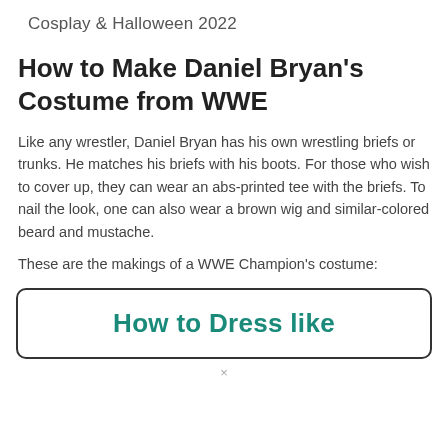Cosplay & Halloween 2022
How to Make Daniel Bryan's Costume from WWE
Like any wrestler, Daniel Bryan has his own wrestling briefs or trunks. He matches his briefs with his boots. For those who wish to cover up, they can wear an abs-printed tee with the briefs. To nail the look, one can also wear a brown wig and similar-colored beard and mustache.
These are the makings of a WWE Champion's costume:
How to Dress like